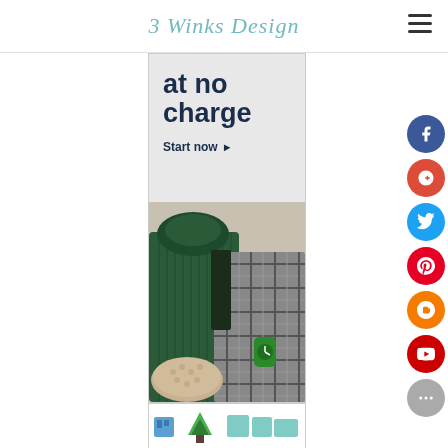3 Winks Design
[Figure (screenshot): Amazon advertisement banner showing 'at no charge' text with 'Start now' call-to-action and clothing items including a green turtleneck sweater, plaid shirt, green watch, and snakeskin bag]
[Figure (screenshot): Second advertisement banner partially visible showing a green tree logo with product images]
[Figure (infographic): Social media sidebar buttons: Facebook (blue), Google+ (red), Twitter (blue), Pinterest (red), Blogger (orange), YouTube (red), and more (gray)]